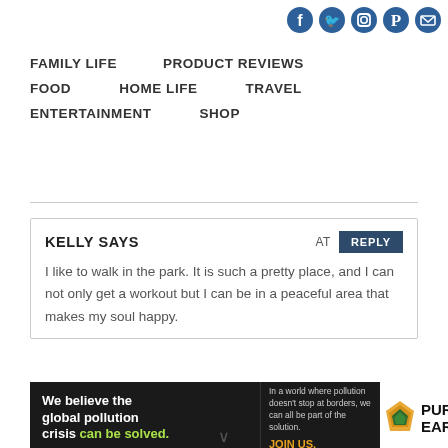[Figure (infographic): Social media icons row: Facebook, Twitter, Instagram, Pinterest, Email - all in dark blue circles]
FAMILY LIFE
PRODUCT REVIEWS
FOOD
HOME LIFE
TRAVEL
ENTERTAINMENT
SHOP
KELLY SAYS
I like to walk in the park. It is such a pretty place, and I can not only get a workout but I can be in a peaceful area that makes my soul happy.
[Figure (infographic): Pure Earth ad banner: 'We believe the global pollution crisis can be solved.' with Pure Earth logo]